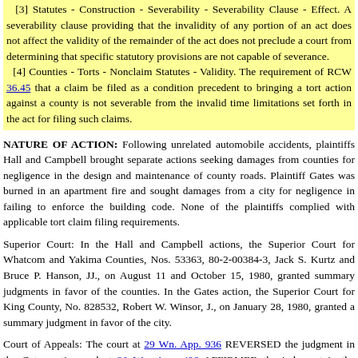[3] Statutes - Construction - Severability - Severability Clause - Effect. A severability clause providing that the invalidity of any portion of an act does not affect the validity of the remainder of the act does not preclude a court from determining that specific statutory provisions are not capable of severance.
[4] Counties - Torts - Nonclaim Statutes - Validity. The requirement of RCW 36.45 that a claim be filed as a condition precedent to bringing a tort action against a county is not severable from the invalid time limitations set forth in the act for filing such claims.
NATURE OF ACTION: Following unrelated automobile accidents, plaintiffs Hall and Campbell brought separate actions seeking damages from counties for negligence in the design and maintenance of county roads. Plaintiff Gates was burned in an apartment fire and sought damages from a city for negligence in failing to enforce the building code. None of the plaintiffs complied with applicable tort claim filing requirements.
Superior Court: In the Hall and Campbell actions, the Superior Court for Whatcom and Yakima Counties, Nos. 53363, 80-2-00384-3, Jack S. Kurtz and Bruce P. Hanson, JJ., on August 11 and October 15, 1980, granted summary judgments in favor of the counties. In the Gates action, the Superior Court for King County, No. 828532, Robert W. Winsor, J., on January 28, 1980, granted a summary judgment in favor of the city.
Court of Appeals: The court at 29 Wn. App. 936 REVERSED the judgment in the Gates action and at 30 Wn. App. 496 AFFIRMED the judgment in the Campbell action.